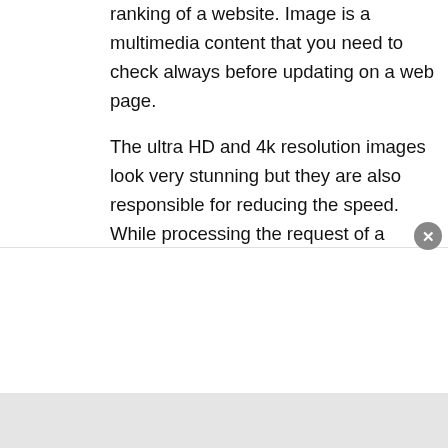ranking of a website. Image is a multimedia content that you need to check always before updating on a web page.

The ultra HD and 4k resolution images look very stunning but they are also responsible for reducing the speed. While processing the request of a server, every single factor on a page is considered. If your page is heavy because of high-resolution images it will take too much time for loading.

Consequently, it badly affects the user experience. Even after using the high-speed data plans if the web pages take too much time for loading, the users will never visit again. In most of the times, heavy images become the core reason of maintaining who even after implementing all other SEO...
[Figure (infographic): Social media sharing icons on the left side: Facebook (blue), Twitter (light blue), Pinterest (red), Reddit (orange), and a partially visible plus/share icon (blue). A close button (grey circle with X) overlays the bottom-right.]